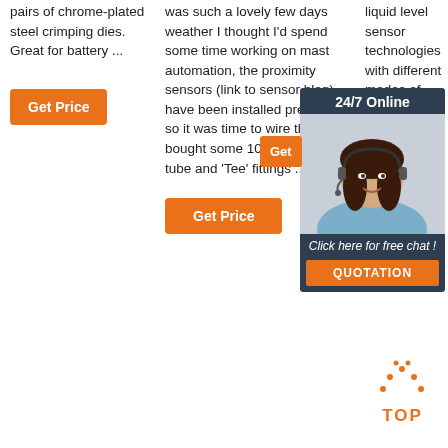pairs of chrome-plated steel crimping dies. Great for battery ...
Get Price
was such a lovely few days weather I thought I'd spend some time working on mast automation, the proximity sensors (link to sensor blog) have been installed previously, so it was time to wire them up.I bought some 10mm convoluted tube and 'Tee' fittings ...
Get Price
liquid level sensor technologies with different modes of operation.
[Figure (infographic): 24/7 Online chat support advertisement box with a woman wearing a headset, 'Get' button in orange, 'Click here for free chat!' text, and an orange QUOTATION button]
[Figure (infographic): Orange dotted arrow pointing up with the word TOP in orange letters — a back-to-top button]